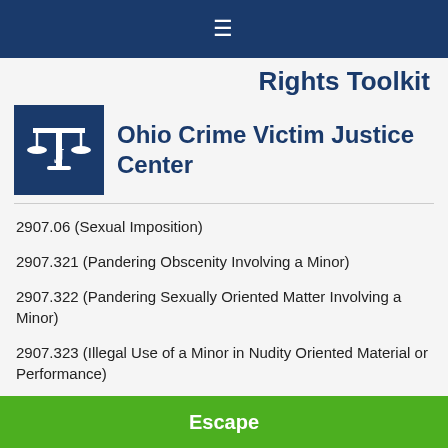≡
Rights Toolkit
[Figure (logo): Ohio Crime Victim Justice Center logo — blue square with scales of justice and letter J icon]
Ohio Crime Victim Justice Center
2907.06 (Sexual Imposition)
2907.321 (Pandering Obscenity Involving a Minor)
2907.322 (Pandering Sexually Oriented Matter Involving a Minor)
2907.323 (Illegal Use of a Minor in Nudity Oriented Material or Performance)
Chapter 4506 (Commercial Driver's License Laws)
Escape